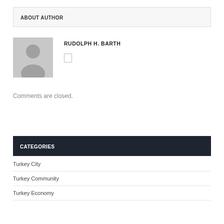ABOUT AUTHOR
RUDOLPH H. BARTH
Comments are closed.
CATEGORIES
Turkey City
Turkey Community
Turkey Economy